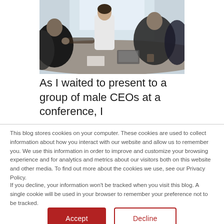[Figure (photo): Group of business people sitting around a conference table in a meeting, several men and a woman in professional attire, partially cropped]
As I waited to present to a group of male CEOs at a conference, I
This blog stores cookies on your computer. These cookies are used to collect information about how you interact with our website and allow us to remember you. We use this information in order to improve and customize your browsing experience and for analytics and metrics about our visitors both on this website and other media. To find out more about the cookies we use, see our Privacy Policy.
If you decline, your information won't be tracked when you visit this blog. A single cookie will be used in your browser to remember your preference not to be tracked.
Accept | Decline